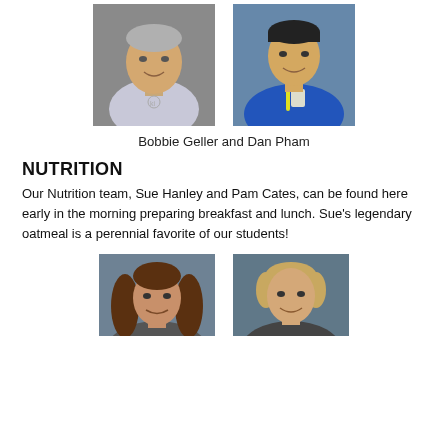[Figure (photo): Two staff portrait photos side by side: Bobbie Geller (older person in light grey shirt) and Dan Pham (younger person in blue polo with lanyard)]
Bobbie Geller and Dan Pham
NUTRITION
Our Nutrition team, Sue Hanley and Pam Cates, can be found here early in the morning preparing breakfast and lunch. Sue's legendary oatmeal is a perennial favorite of our students!
[Figure (photo): Two staff portrait photos side by side: Sue Hanley (woman with brown hair) and Pam Cates (woman with short lighter hair), both against blue-grey background]